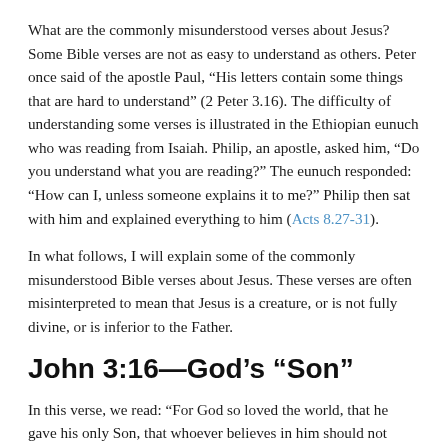What are the commonly misunderstood verses about Jesus? Some Bible verses are not as easy to understand as others. Peter once said of the apostle Paul, “His letters contain some things that are hard to understand” (2 Peter 3.16). The difficulty of understanding some verses is illustrated in the Ethiopian eunuch who was reading from Isaiah. Philip, an apostle, asked him, “Do you understand what you are reading?” The eunuch responded: “How can I, unless someone explains it to me?” Philip then sat with him and explained everything to him (Acts 8.27-31).
In what follows, I will explain some of the commonly misunderstood Bible verses about Jesus. These verses are often misinterpreted to mean that Jesus is a creature, or is not fully divine, or is inferior to the Father.
John 3:16—God’s “Son”
In this verse, we read: “For God so loved the world, that he gave his only Son, that whoever believes in him should not perish but have eternal life.” Some believe Jesus—as the “Son” of God—must be lesser in divinity than the Father.